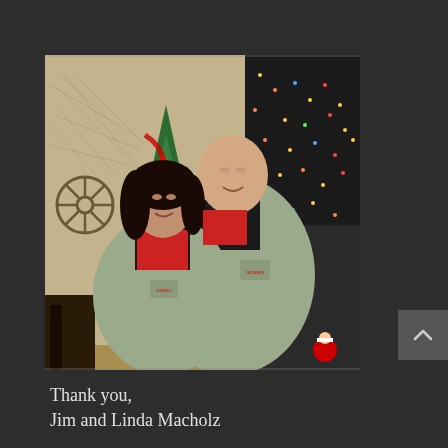[Figure (photo): A man and a woman standing together in front of a decorated Christmas tree, both wearing matching light green/sage colored jackets with a logo on them. The woman has dark hair and is in front; the man is taller, standing behind her with his arm around her. Christmas decorations are visible in the background including stockings and lights.]
Thank you,
Jim and Linda Macholz